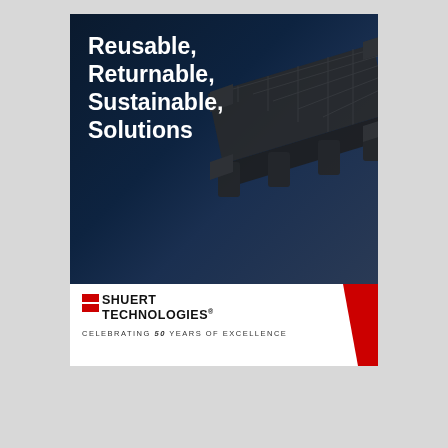[Figure (illustration): Advertisement for Shuert Technologies showing a dark navy blue background with a black plastic pallet/platform visible in the upper right, bold white text reading 'Reusable, Returnable, Sustainable, Solutions' on the left, and a white bottom bar with the Shuert Technologies logo (red squares + bold text), tagline 'CELEBRATING 50 YEARS OF EXCELLENCE', and a red diagonal slash accent on the right.]